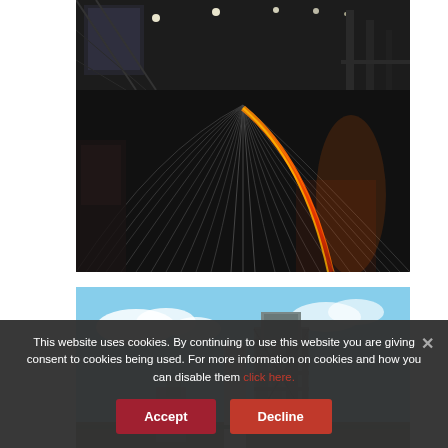[Figure (photo): Interior of a large steel manufacturing plant or mill. Dark industrial space with overhead lighting, showing steel rods or rails laid out in a sweeping pattern on the factory floor, with a bright glowing streak of hot metal visible on the right side.]
[Figure (photo): Exterior view of an industrial facility, possibly a steel plant or power plant, showing a tall cylindrical chimney/tower and a large industrial structure against a blue sky with white clouds.]
This website uses cookies. By continuing to use this website you are giving consent to cookies being used. For more information on cookies and how you can disable them click here.